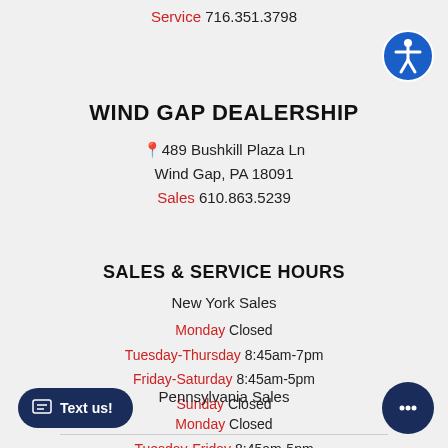Service 716.351.3798
[Figure (illustration): Blue circle accessibility icon with person figure]
WIND GAP DEALERSHIP
489 Bushkill Plaza Ln
Wind Gap, PA 18091
Sales 610.863.5239
SALES & SERVICE HOURS
New York Sales
Monday Closed
Tuesday-Thursday 8:45am-7pm
Friday-Saturday 8:45am-5pm
Sunday Closed
Pennsylvania Sales
Monday Closed
Tuesday-Friday 8:45am-5pm
[Figure (illustration): Dark navy Text us button with chat icon]
[Figure (illustration): Dark navy chat bubble icon button]